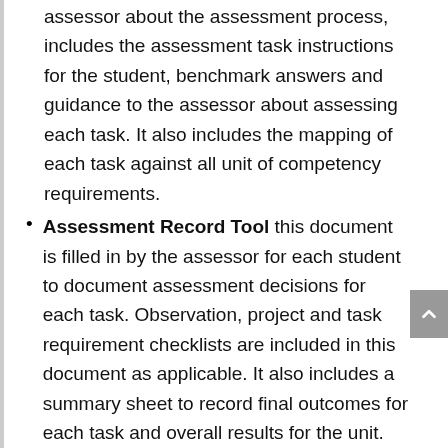assessor about the assessment process, includes the assessment task instructions for the student, benchmark answers and guidance to the assessor about assessing each task. It also includes the mapping of each task against all unit of competency requirements.
Assessment Record Tool this document is filled in by the assessor for each student to document assessment decisions for each task. Observation, project and task requirement checklists are included in this document as applicable. It also includes a summary sheet to record final outcomes for each task and overall results for the unit.